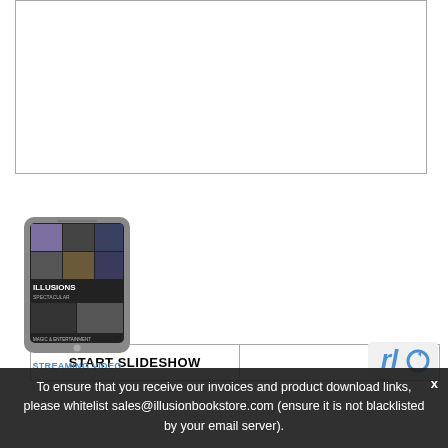[Figure (other): Empty white box with border at the top of the page]
| START SLIDESHOW |  |
[Figure (photo): Tablet device showing Illusions streaming video product with grid of performance images]
STREAMING VIDEO
[Figure (other): reCAPTCHA widget partially visible in bottom right corner]
To ensure that you receive our invoices and product download links, please whitelist sales@illusionbookstore.com (ensure it is not blacklisted by your email server).